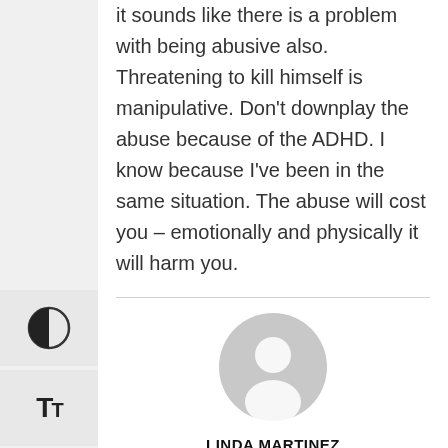it sounds like there is a problem with being abusive also. Threatening to kill himself is manipulative. Don't downplay the abuse because of the ADHD. I know because I've been in the same situation. The abuse will cost you – emotionally and physically it will harm you.
[Figure (illustration): Default user avatar icon - gray circle with white person silhouette]
LINDA MARTINEZ